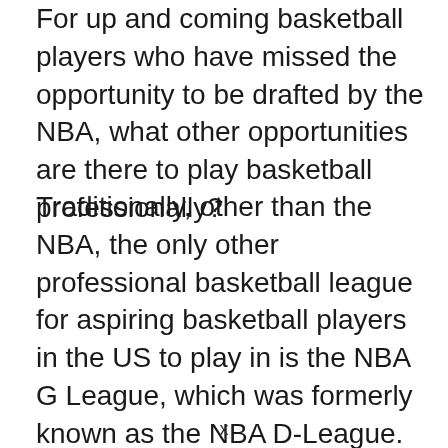For up and coming basketball players who have missed the opportunity to be drafted by the NBA, what other opportunities are there to play basketball professionally?
Traditionally, other than the NBA, the only other professional basketball league for aspiring basketball players in the US to play in is the NBA G League, which was formerly known as the NBA D-League. The best players in the G League can occasionally get called up to the NBA. But for the most part, G League players will spend their whole careers in the G League. And the salaries of the G League is a far cry from that of the NBA: the
x